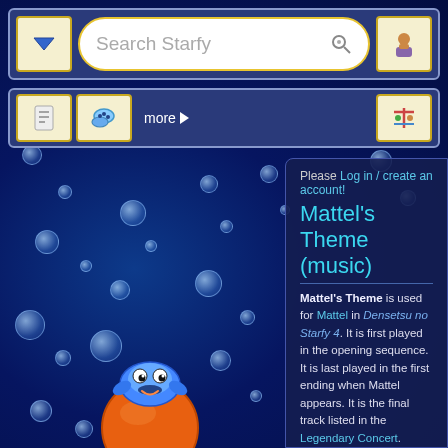[Figure (screenshot): Wiki website screenshot showing Starfy wiki with underwater blue bubble background, navigation bars, and article content about Mattel's Theme music]
Search Starfy
more
Mattel's Theme (music)
Please Log in / create an account!
Mattel's Theme is used for Mattel in Densetsu no Starfy 4. It is first played in the opening sequence. It is last played in the first ending when Mattel appears. It is the final track listed in the Legendary Concert.
[Figure (screenshot): YouTube video embed placeholder showing Densetsu no Sta... with channel avatar and red play button]